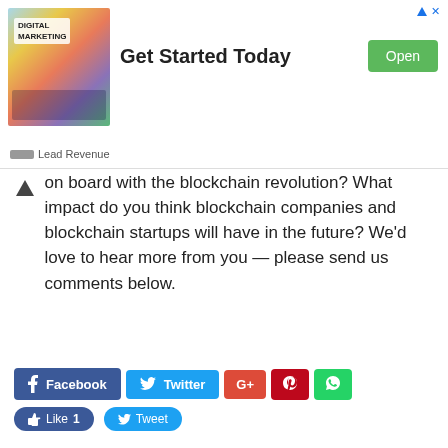[Figure (infographic): Advertisement banner: Digital Marketing image on left, 'Get Started Today' text in center, green 'Open' button on right, 'Lead Revenue' branding at bottom, dismiss arrow at top right]
on board with the blockchain revolution? What impact do you think blockchain companies and blockchain startups will have in the future? We'd love to hear more from you — please send us comments below.
[Figure (infographic): Social sharing buttons: Facebook, Twitter, Google+, Pinterest, WhatsApp buttons in a row; Like 1 and Tweet buttons below]
Previous article
Next article
Everything Your Designer Will Need Before Building a Website
Car Loans Can Put Your Financial Life Back In Order